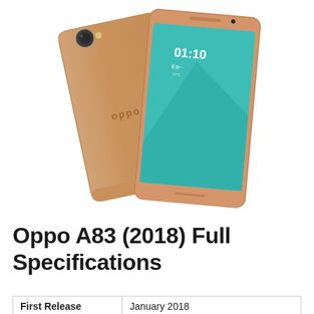[Figure (photo): Product photo showing two OPPO A83 smartphones in rose gold/gold color. One phone shows the back with OPPO logo and rear camera, the other shows the front with a teal-colored screen displaying 01:10 time.]
Oppo A83 (2018) Full Specifications
| First Release | January 2018 |
| --- | --- |
| First Release | January 2018 |